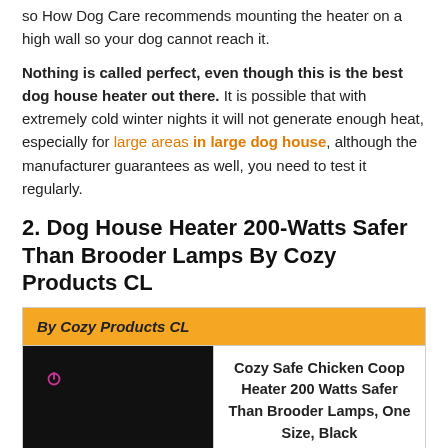so How Dog Care recommends mounting the heater on a high wall so your dog cannot reach it.
Nothing is called perfect, even though this is the best dog house heater out there. It is possible that with extremely cold winter nights it will not generate enough heat, especially for large areas in large dog house, although the manufacturer guarantees as well, you need to test it regularly.
2. Dog House Heater 200-Watts Safer Than Brooder Lamps By Cozy Products CL
| By Cozy Products CL |
| --- |
| [product image: black heater panel with power icon] | Cozy Safe Chicken Coop Heater 200 Watts Safer Than Brooder Lamps, One Size, Black |